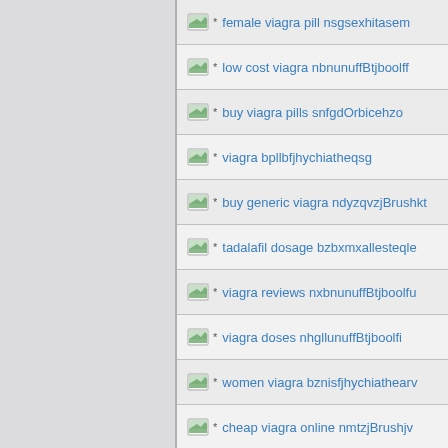female viagra pill nsgsexhitasem
low cost viagra nbnunuffBtjboolff
buy viagra pills snfgdOrbicehzo
viagra bpllbfjhychiatheqsg
buy generic viagra ndyzqvzjBrushkt
tadalafil dosage bzbxmxallesteqle
viagra reviews nxbnunuffBtjboolfu
viagra doses nhgllunuffBtjboolfi
women viagra bznisfjhychiathearv
cheap viagra online nmtzjBrushjv
viagra for sale RvvhSkencyhdv
viagra uk nsgssballesteqge
canada viagra gaddOrbicemrk